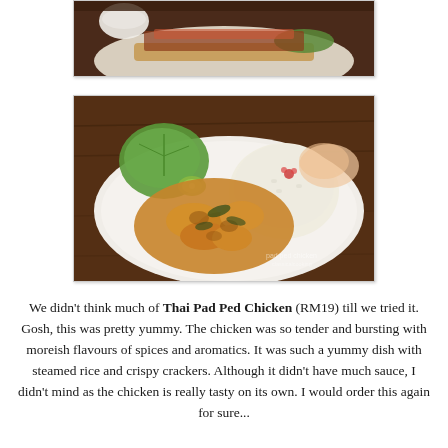[Figure (photo): Partial top photo of a food dish — appears to be a burger or sandwich with toppings on a white plate, cropped at top of page]
[Figure (photo): Photo of Thai Pad Ped Chicken dish on a white plate with steamed rice, lettuce, cucumber and crispy crackers, on a dark wooden table. Watermark 'pad ped chicken' visible in lower right corner.]
We didn't think much of Thai Pad Ped Chicken (RM19) till we tried it. Gosh, this was pretty yummy. The chicken was so tender and bursting with moreish flavours of spices and aromatics. It was such a yummy dish with steamed rice and crispy crackers. Although it didn't have much sauce, I didn't mind as the chicken is really tasty on its own. I would order this again for sure...